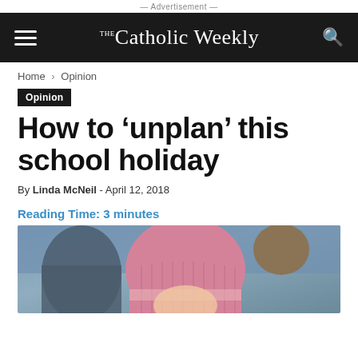— Advertisement —
The Catholic Weekly
Home › Opinion
Opinion
How to 'unplan' this school holiday
By Linda McNeil - April 12, 2018
Reading Time: 3 minutes
[Figure (photo): Photo of children wearing winter hats, pink ribbed beanie prominent in foreground]